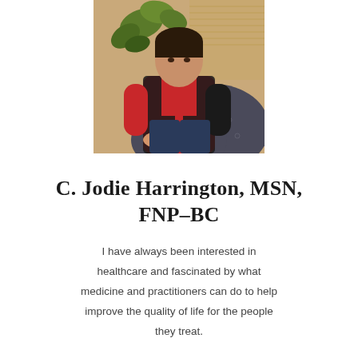[Figure (photo): Professional portrait photo of C. Jodie Harrington, a woman wearing a red long-sleeve shirt and black vest, seated in a patterned chair with a plant visible in the background.]
C. Jodie Harrington, MSN, FNP-BC
I have always been interested in healthcare and fascinated by what medicine and practitioners can do to help improve the quality of life for the people they treat.